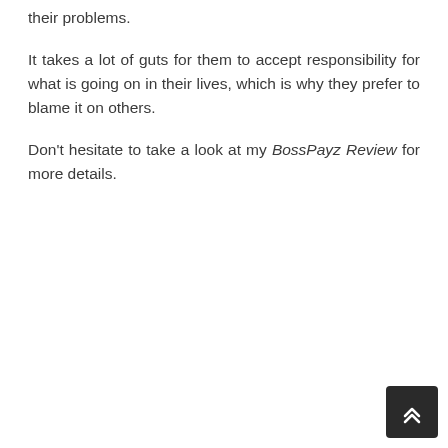their problems.
It takes a lot of guts for them to accept responsibility for what is going on in their lives, which is why they prefer to blame it on others.
Don't hesitate to take a look at my BossPayz Review for more details.